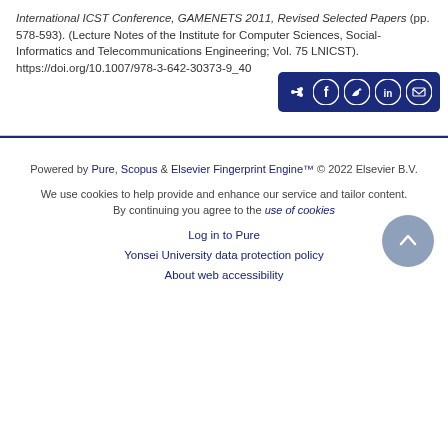International ICST Conference, GAMENETS 2011, Revised Selected Papers (pp. 578-593). (Lecture Notes of the Institute for Computer Sciences, Social-Informatics and Telecommunications Engineering; Vol. 75 LNICST). https://doi.org/10.1007/978-3-642-30373-9_40
[Figure (other): Share buttons bar with icons for share, Facebook, Twitter, LinkedIn, and email on a dark navy background]
Powered by Pure, Scopus & Elsevier Fingerprint Engine™ © 2022 Elsevier B.V.
We use cookies to help provide and enhance our service and tailor content. By continuing you agree to the use of cookies
Log in to Pure
Yonsei University data protection policy
About web accessibility